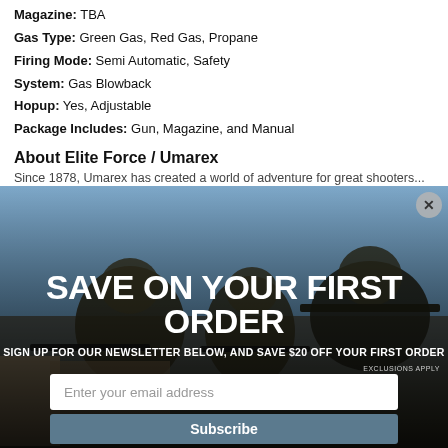Magazine: TBA
Gas Type: Green Gas, Red Gas, Propane
Firing Mode: Semi Automatic, Safety
System: Gas Blowback
Hopup: Yes, Adjustable
Package Includes: Gun, Magazine, and Manual
About Elite Force / Umarex
Since 1878, Umarex has created a world of adventure for great shooters...
[Figure (photo): Modal popup overlay showing soldiers in tactical gear aiming rifles in an outdoor setting. Contains promotional text 'SAVE ON YOUR FIRST ORDER', subtext 'SIGN UP FOR OUR NEWSLETTER BELOW, AND SAVE $20 OFF YOUR FIRST ORDER', exclusions note, an email input field, and a Subscribe button. A close (X) button appears in the top right corner.]